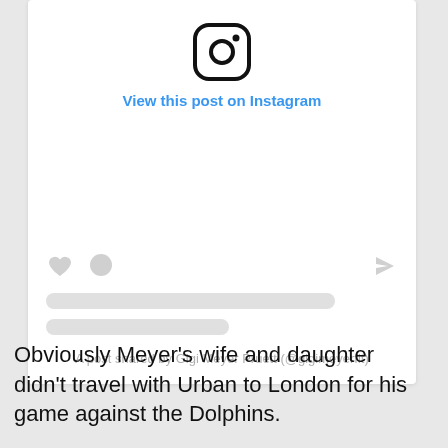[Figure (screenshot): An Instagram embed placeholder showing the Instagram camera icon, a 'View this post on Instagram' link in blue, a like/comment/share action bar with grey placeholder icons, two grey loading bars, and attribution text 'A post shared by Gigi Meyer Pruett (@gigimeyerfit)']
Obviously Meyer's wife and daughter didn't travel with Urban to London for his game against the Dolphins.